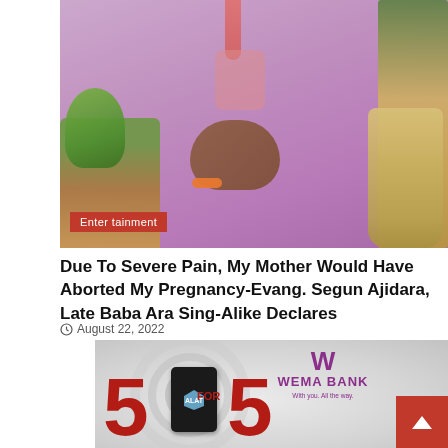[Figure (photo): Person wearing a lavender/purple agbada (traditional Nigerian robe) with a pink bib/pocket and bead necklace, standing in front of wicker furniture and plants. Entertainment category badge overlaid at bottom left.]
Due To Severe Pain, My Mother Would Have Aborted My Pregnancy-Evang. Segun Ajidara, Late Baba Ara Sing-Alike Declares
August 22, 2022
[Figure (photo): Wema Bank advertisement showing '55 FOR 5' promotion with a smartphone displaying the ALAT app logo, red numerals 55, and Wema Bank branding/logo on grey circular background.]